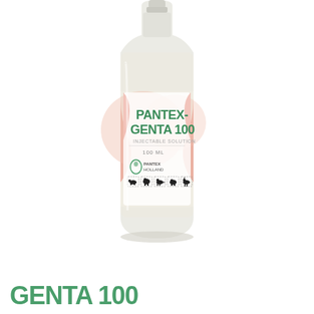[Figure (photo): A clear glass bottle of Pantex-Genta 100 Injectable Solution, 100 mL. The bottle has a white/cream label with a pink/salmon curved design on the sides. The label shows the product name 'PANTEX-GENTA 100', subtitle 'INJECTABLE SOLUTION', volume '100 ML', the Pantex Holland logo (green oval droplet icon with PANTEX HOLLAND text), and five animal silhouette icons in dashed boxes (cattle, sheep, dog, pig, horse). The bottle is on a white background.]
GENTA 100